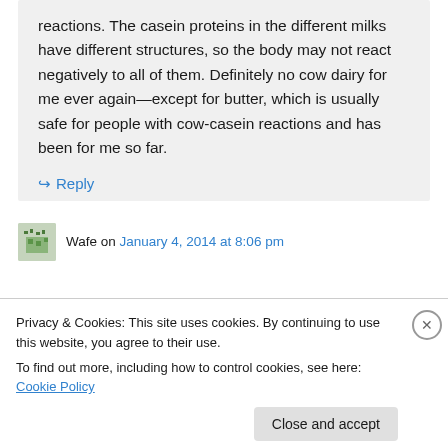reactions. The casein proteins in the different milks have different structures, so the body may not react negatively to all of them. Definitely no cow dairy for me ever again—except for butter, which is usually safe for people with cow-casein reactions and has been for me so far.
↳ Reply
Wafe on January 4, 2014 at 8:06 pm
Privacy & Cookies: This site uses cookies. By continuing to use this website, you agree to their use.
To find out more, including how to control cookies, see here: Cookie Policy
Close and accept